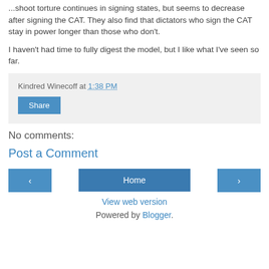...shoot torture continues in signing states, but seems to decrease after signing the CAT. They also find that dictators who sign the CAT stay in power longer than those who don't.
I haven't had time to fully digest the model, but I like what I've seen so far.
Kindred Winecoff at 1:38 PM
Share
No comments:
Post a Comment
‹
Home
›
View web version
Powered by Blogger.